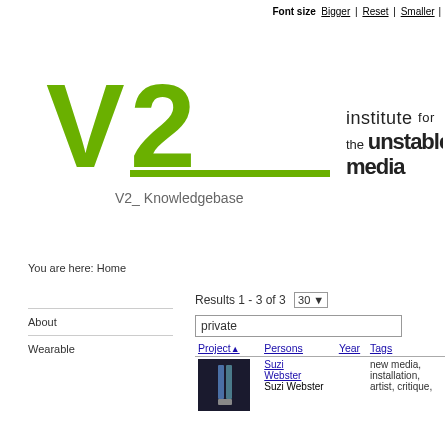Font size Bigger | Reset | Smaller |
[Figure (logo): V2_ Institute for the Unstable Media logo - green V2_ mark with black text 'institute for the unstable media']
V2_ Knowledgebase
You are here: Home
Results 1 - 3 of 3  30
private
| Project | Persons | Year | Tags |
| --- | --- | --- | --- |
| [image] | Suzi Webster  Suzi Webster |  | new media, installation, artist, critique |
About
Wearable